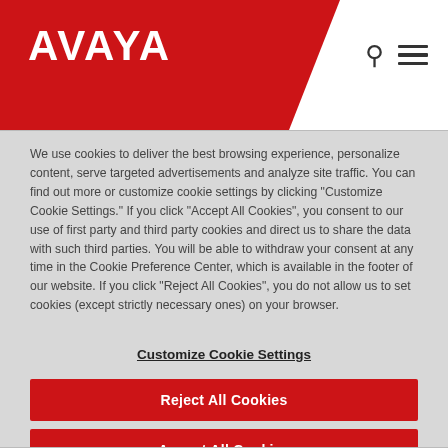AVAYA
We use cookies to deliver the best browsing experience, personalize content, serve targeted advertisements and analyze site traffic. You can find out more or customize cookie settings by clicking "Customize Cookie Settings." If you click "Accept All Cookies", you consent to our use of first party and third party cookies and direct us to share the data with such third parties. You will be able to withdraw your consent at any time in the Cookie Preference Center, which is available in the footer of our website. If you click "Reject All Cookies", you do not allow us to set cookies (except strictly necessary ones) on your browser.
Customize Cookie Settings
Reject All Cookies
Accept All Cookies